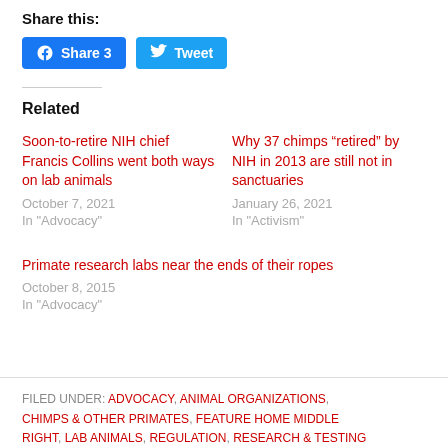Share this:
Share 3  Tweet
Related
Soon-to-retire NIH chief Francis Collins went both ways on lab animals
October 7, 2021
In "Advocacy"
Why 37 chimps “retired” by NIH in 2013 are still not in sanctuaries
January 26, 2021
In "Activism"
Primate research labs near the ends of their ropes
October 8, 2015
In "Advocacy"
FILED UNDER: ADVOCACY, ANIMAL ORGANIZATIONS, CHIMPS & OTHER PRIMATES, FEATURE HOME MIDDLE RIGHT, LAB ANIMALS, REGULATION, RESEARCH & TESTING